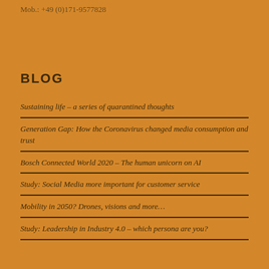Mob.: +49 (0)171-9577828
BLOG
Sustaining life – a series of quarantined thoughts
Generation Gap: How the Coronavirus changed media consumption and trust
Bosch Connected World 2020 – The human unicorn on AI
Study: Social Media more important for customer service
Mobility in 2050? Drones, visions and more…
Study: Leadership in Industry 4.0 – which persona are you?